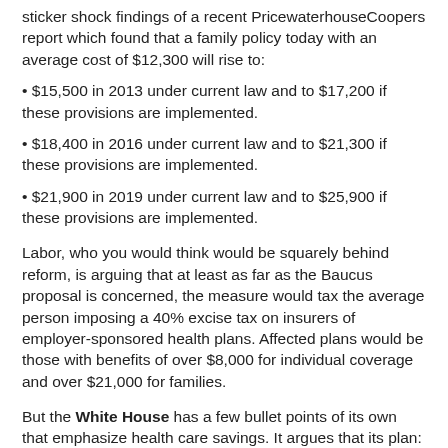sticker shock findings of a recent PricewaterhouseCoopers report which found that a family policy today with an average cost of $12,300 will rise to:
• $15,500 in 2013 under current law and to $17,200 if these provisions are implemented.
• $18,400 in 2016 under current law and to $21,300 if these provisions are implemented.
• $21,900 in 2019 under current law and to $25,900 if these provisions are implemented.
Labor, who you would think would be squarely behind reform, is arguing that at least as far as the Baucus proposal is concerned, the measure would tax the average person imposing a 40% excise tax on insurers of employer-sponsored health plans. Affected plans would be those with benefits of over $8,000 for individual coverage and over $21,000 for families.
But the White House has a few bullet points of its own that emphasize health care savings. It argues that its plan:
• Won't add a dime to the deficit and is paid for upfront. The President's plan will not add one dime to the deficit today or